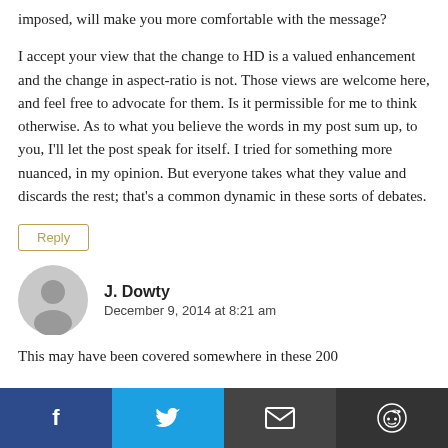imposed, will make you more comfortable with the message?
I accept your view that the change to HD is a valued enhancement and the change in aspect-ratio is not. Those views are welcome here, and feel free to advocate for them. Is it permissible for me to think otherwise. As to what you believe the words in my post sum up, to you, I'll let the post speak for itself. I tried for something more nuanced, in my opinion. But everyone takes what they value and discards the rest; that's a common dynamic in these sorts of debates.
Reply
J. Dowty
December 9, 2014 at 8:21 am
This may have been covered somewhere in these 200
Facebook | Twitter | Email | Reddit